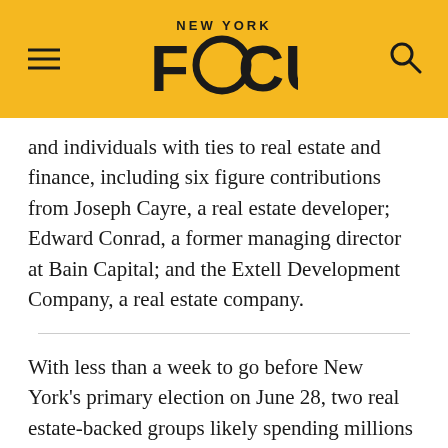NEW YORK FOCUS
and individuals with ties to real estate and finance, including six figure contributions from Joseph Cayre, a real estate developer; Edward Conrad, a former managing director at Bain Capital; and the Extell Development Company, a real estate company.
With less than a week to go before New York's primary election on June 28, two real estate-backed groups likely spending millions to boost moderate Democrats may be violating campaign finance law